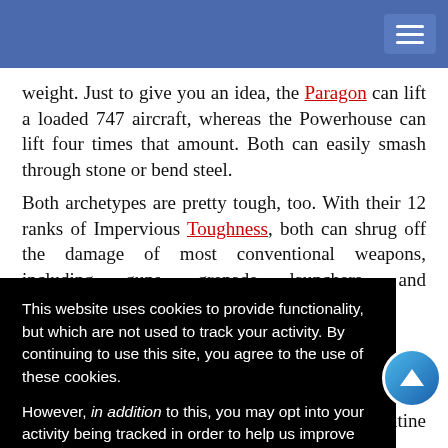[Blue navigation bar with hamburger menu]
weight. Just to give you an idea, the Paragon can lift a loaded 747 aircraft, whereas the Powerhouse can lift four times that amount. Both can easily smash through stone or bend steel.
Both archetypes are pretty tough, too. With their 12 ranks of Impervious Toughness, both can shrug off the damage of most conventional weapons, including guns, grenade launchers, and flamethrowers, without even [needing to] take the [effort to penetrate] their skin.
[...] nd the ability to [use] the Speedster's [...] o a lot in a [...] s 10 from the time rank required to accomplish any routine task, doing
[Figure (other): Cookie consent overlay: black background with white text. Text reads: 'This website uses cookies to provide functionality, but which are not used to track your activity. By continuing to use this site, you agree to the use of these cookies. However, in addition to this, you may opt into your activity being tracked in order to help us improve our service. For more information, please click here [blue link].' Two buttons: OK and No, thank you.]
[Figure (other): Blue circular scroll-to-top button with white upward arrow, positioned bottom-right.]